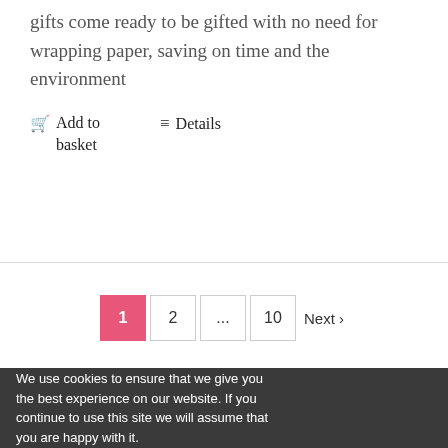gifts come ready to be gifted with no need for wrapping paper, saving on time and the environment
🛒 Add to basket    ≡ Details
1  2  ...  10  Next ›
We use cookies to ensure that we give you the best experience on our website. If you continue to use this site we will assume that you are happy with it.